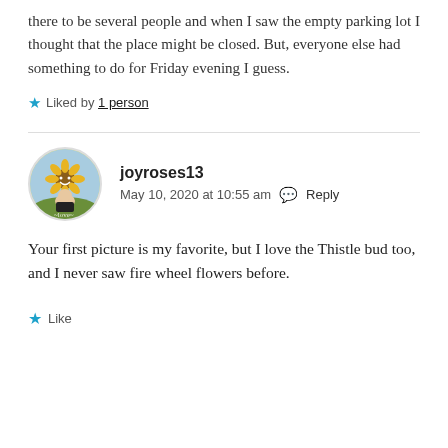there to be several people and when I saw the empty parking lot I thought that the place might be closed. But, everyone else had something to do for Friday evening I guess.
★ Liked by 1 person
joyroses13
May 10, 2020 at 10:55 am  Reply
Your first picture is my favorite, but I love the Thistle bud too, and I never saw fire wheel flowers before.
★ Like